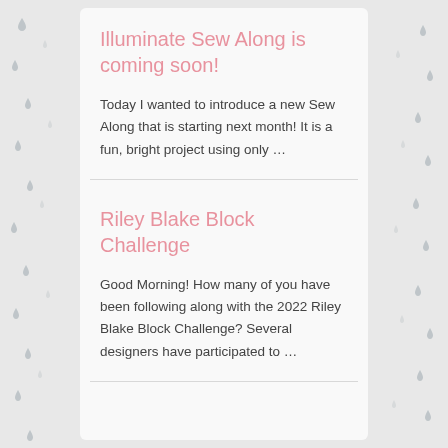[Figure (illustration): Decorative raindrop pattern on left margin background]
[Figure (illustration): Decorative raindrop pattern on right margin background]
Illuminate Sew Along is coming soon!
Today I wanted to introduce a new Sew Along that is starting next month! It is a fun, bright project using only …
Riley Blake Block Challenge
Good Morning! How many of you have been following along with the 2022 Riley Blake Block Challenge? Several designers have participated to …